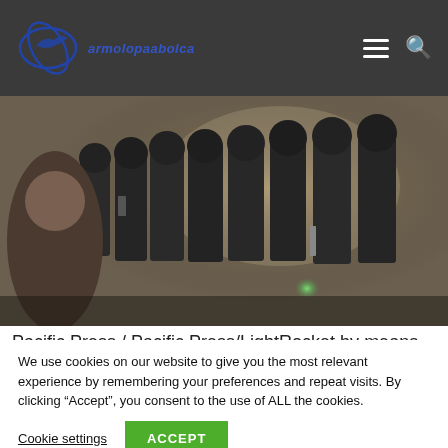armolopaabolca [logo/nav bar]
[Figure (photo): Crowd scene with riot police in dark tactical gear and helmets amid smoky/misty atmosphere; civilians visible in foreground.]
Pacific Press / Pacific Press/LightRocket by means
We use cookies on our website to give you the most relevant experience by remembering your preferences and repeat visits. By clicking “Accept”, you consent to the use of ALL the cookies.
Cookie settings    ACCEPT